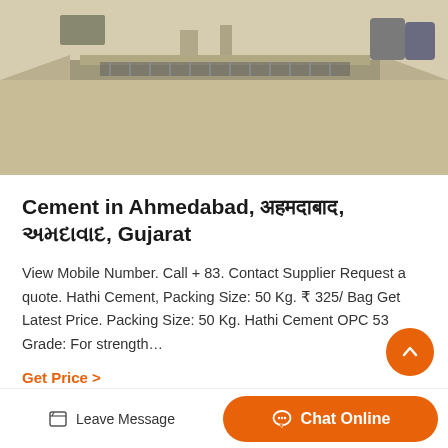[Figure (photo): Aerial or ground-level photo of a cement/construction site showing concrete channels or irrigation structure with rebar reinforcement, barrels in background]
Cement in Ahmedabad, अहमदाबाद, અમદાવાદ, Gujarat
View Mobile Number. Call + 83. Contact Supplier Request a quote. Hathi Cement, Packing Size: 50 Kg. ₹ 325/ Bag Get Latest Price. Packing Size: 50 Kg. Hathi Cement OPC 53 Grade: For strength…
Get Price >
Relate Blog
Leave Message  |  Chat Online